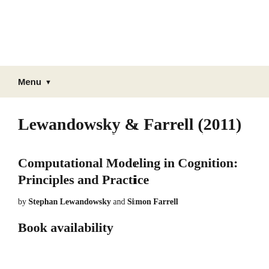Menu
Lewandowsky & Farrell (2011)
Computational Modeling in Cognition: Principles and Practice
by Stephan Lewandowsky and Simon Farrell
Book availability